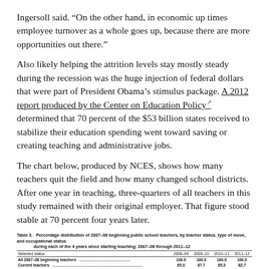Ingersoll said. “On the other hand, in economic up times employee turnover as a whole goes up, because there are more opportunities out there.”
Also likely helping the attrition levels stay mostly steady during the recession was the huge injection of federal dollars that were part of President Obama’s stimulus package. A 2012 report produced by the Center on Education Policy determined that 70 percent of the $53 billion states received to stabilize their education spending went toward saving or creating teaching and administrative jobs.
The chart below, produced by NCES, shows how many teachers quit the field and how many changed school districts. After one year in teaching, three-quarters of all teachers in this study remained with their original employer. That figure stood stable at 70 percent four years later.
| Selected status | 2008–09 | 2009–10 | 2010–11 | 2011–12 |
| --- | --- | --- | --- | --- |
| All 2007–08 beginning teachers | 100.0 | 100.0 | 100.0 | 100.0 |
| Current teachers | 85.0 | 87.7 | 85.3 | 82.7 |
| Stayers¹ | 74.2 | 76.7 | 72.3 | 79.4 |
| Movers² | 15.8 | 10.9 | 10.5 | 6.6 |